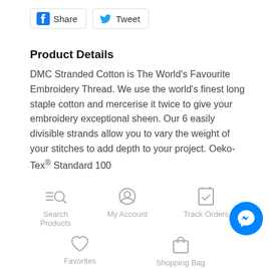[Figure (other): Social share buttons: Facebook Share and Twitter Tweet]
Product Details
DMC Stranded Cotton is The World's Favourite Embroidery Thread. We use the world's finest long staple cotton and mercerise it twice to give your embroidery exceptional sheen. Our 6 easily divisible strands allow you to vary the weight of your stitches to add depth to your project. Oeko-Tex® Standard 100
[Figure (other): Navigation icons: Search Products, My Account, Track Orders, Favorites, Shopping Bag, and Messenger chat button]
Search Products   My Account   Track Orders   Favorites   Shopping Bag